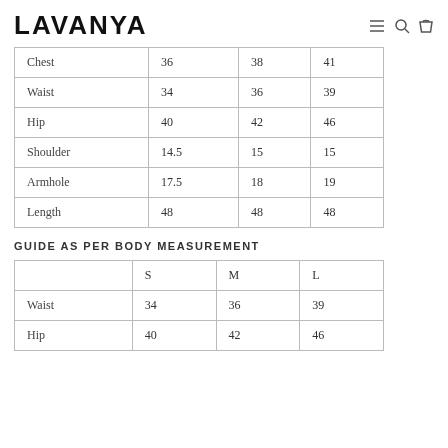LAVANYA
|  |  |  |  |
| --- | --- | --- | --- |
| Chest | 36 | 38 | 41 |
| Waist | 34 | 36 | 39 |
| Hip | 40 | 42 | 46 |
| Shoulder | 14.5 | 15 | 15 |
| Armhole | 17.5 | 18 | 19 |
| Length | 48 | 48 | 48 |
GUIDE AS PER BODY MEASUREMENT
|  | S | M | L |
| --- | --- | --- | --- |
| Waist | 34 | 36 | 39 |
| Hip | 40 | 42 | 46 |